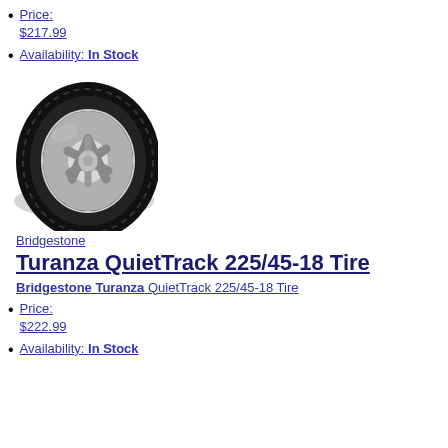Price: $217.99
Availability: In Stock
[Figure (photo): Bridgestone Turanza QuietTrack tire with silver alloy wheel, angled side view on white background]
Bridgestone
Turanza QuietTrack 225/45-18 Tire
Bridgestone Turanza QuietTrack 225/45-18 Tire
Price: $222.99
Availability: In Stock